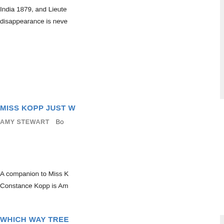India 1879, and Lieute... disappearance is neve...
MISS KOPP JUST W...
AMY STEWART   Bo...
A companion to Miss K... Constance Kopp is Am...
WHICH WAY TREE
ELIZABETH CROO...
Early one morning in t... young girl named Sam...